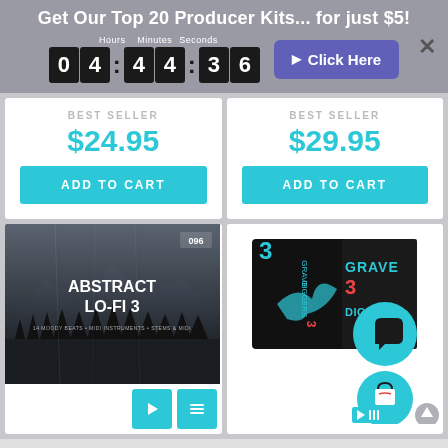Get Our Top 20 Producer Kits... for just $5!
Hours 04 : Minutes 44 : Seconds 36   Click Here   ×
BEST SELLER
$24.95
ADD TO CART
BEST SELLER
$29.95
ADD TO CART
[Figure (illustration): Abstract Lo-Fi 3 product artwork — dark moody mountain/forest scene with scratched film look, label 096 in corner]
[Figure (illustration): Grave Diggers 3 product box artwork — dark box with glowing teal text GRAVE DIGGERS 3, plus teal circle icons for chat and shopping bag]
ABSTRACT LO-FI 3
Play and list icon buttons below Abstract Lo-Fi 3
Chat, shopping bag, list, scroll-up icon buttons for Grave Diggers 3